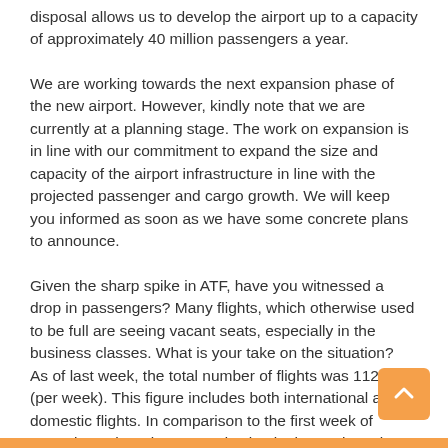disposal allows us to develop the airport up to a capacity of approximately 40 million passengers a year.
We are working towards the next expansion phase of the new airport. However, kindly note that we are currently at a planning stage. The work on expansion is in line with our commitment to expand the size and capacity of the airport infrastructure in line with the projected passenger and cargo growth. We will keep you informed as soon as we have some concrete plans to announce.
Given the sharp spike in ATF, have you witnessed a drop in passengers? Many flights, which otherwise used to be full are seeing vacant seats, especially in the business classes. What is your take on the situation? As of last week, the total number of flights was 1120 (per week). This figure includes both international and domestic flights. In comparison to the first week of operations, there is a 2% reduction in the total number of flights. This is due to a 3% reduction in domestic flights* per week. International flights however have shown a 4% increase (from 134 flights to 140